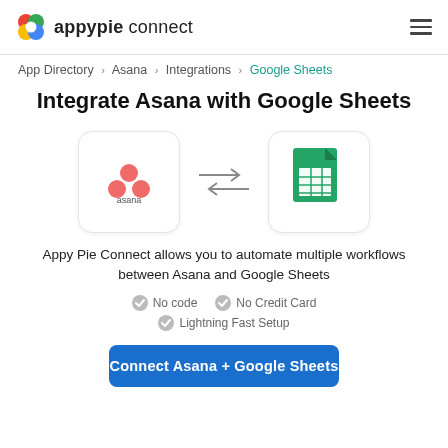appypie connect
App Directory > Asana > Integrations > Google Sheets
Integrate Asana with Google Sheets
[Figure (illustration): Asana logo icon in a rounded square box, bidirectional arrows in the middle, Google Sheets logo icon in a rounded square box]
Appy Pie Connect allows you to automate multiple workflows between Asana and Google Sheets
No code
No Credit Card
Lightning Fast Setup
Connect Asana + Google Sheets